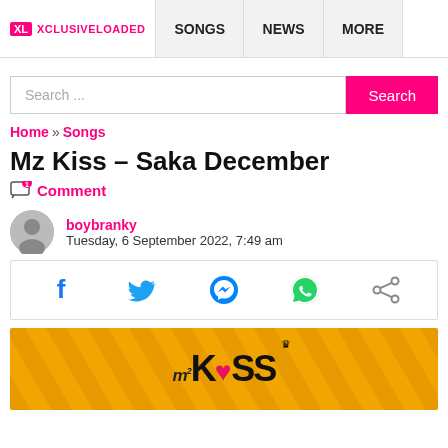XCLUSIVELOADED | SONGS | NEWS | MORE
Search ...
Home » Songs
Mz Kiss – Saka December
Comment
boybranky
Tuesday, 6 September 2022, 7:49 am
[Figure (infographic): Social share icons row: Facebook, Twitter, Messenger, WhatsApp, Share]
[Figure (photo): Mz Kiss – Saka December promotional image with yellow background and MzKiss logo]